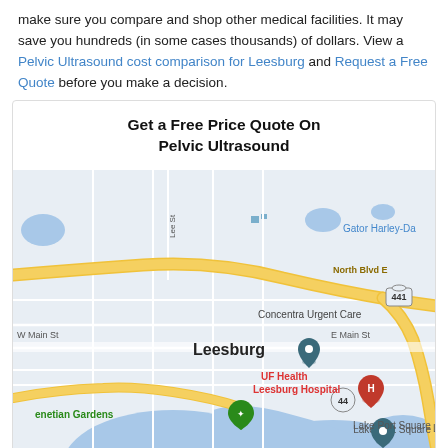make sure you compare and shop other medical facilities. It may save you hundreds (in some cases thousands) of dollars. View a Pelvic Ultrasound cost comparison for Leesburg and Request a Free Quote before you make a decision.
Get a Free Price Quote On Pelvic Ultrasound
[Figure (map): Google Maps view of Leesburg, Florida showing Concentra Urgent Care, UF Health Leesburg Hospital, Venetian Gardens, Lake Port Square, and surrounding road network including North Blvd E, E Main St, W Main St, Lee St, and highways 441 and 44.]